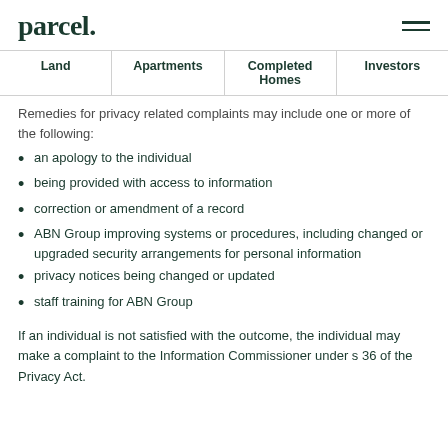parcel.
| Land | Apartments | Completed Homes | Investors |
| --- | --- | --- | --- |
Remedies for privacy related complaints may include one or more of the following:
an apology to the individual
being provided with access to information
correction or amendment of a record
ABN Group improving systems or procedures, including changed or upgraded security arrangements for personal information
privacy notices being changed or updated
staff training for ABN Group
If an individual is not satisfied with the outcome, the individual may make a complaint to the Information Commissioner under s 36 of the Privacy Act.